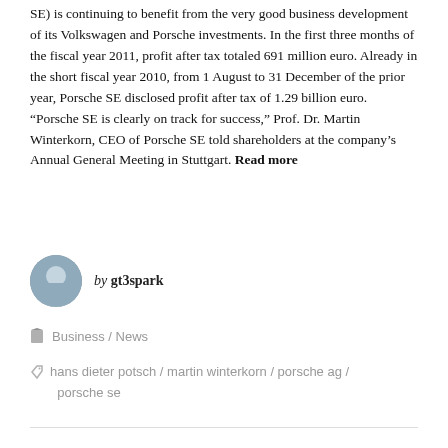SE) is continuing to benefit from the very good business development of its Volkswagen and Porsche investments. In the first three months of the fiscal year 2011, profit after tax totaled 691 million euro. Already in the short fiscal year 2010, from 1 August to 31 December of the prior year, Porsche SE disclosed profit after tax of 1.29 billion euro. “Porsche SE is clearly on track for success,” Prof. Dr. Martin Winterkorn, CEO of Porsche SE told shareholders at the company’s Annual General Meeting in Stuttgart. Read more
by gt3spark
Business / News
hans dieter potsch / martin winterkorn / porsche ag / porsche se